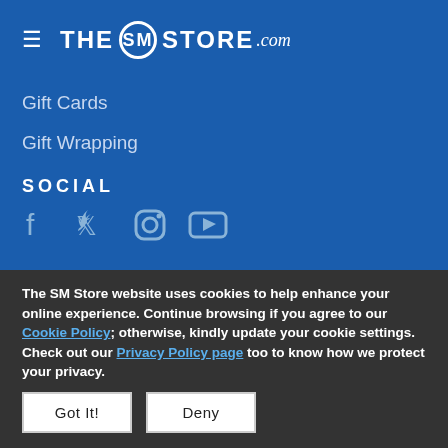THE SM STORE .com
Gift Cards
Gift Wrapping
SOCIAL
[Figure (infographic): Social media icons: Facebook, Twitter, Instagram, YouTube]
The SM Store website uses cookies to help enhance your online experience. Continue browsing if you agree to our Cookie Policy; otherwise, kindly update your cookie settings. Check out our Privacy Policy page too to know how we protect your privacy.
Got It! | Deny